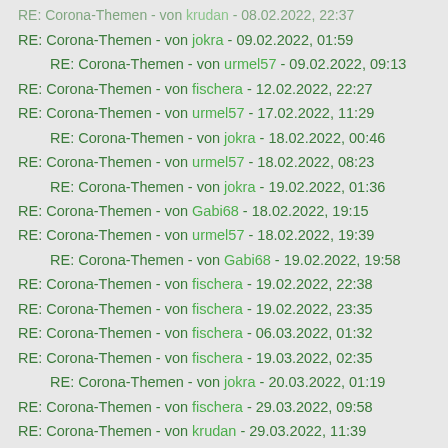RE: Corona-Themen - von krudan - 08.02.2022, 22:37
RE: Corona-Themen - von jokra - 09.02.2022, 01:59
RE: Corona-Themen - von urmel57 - 09.02.2022, 09:13
RE: Corona-Themen - von fischera - 12.02.2022, 22:27
RE: Corona-Themen - von urmel57 - 17.02.2022, 11:29
RE: Corona-Themen - von jokra - 18.02.2022, 00:46
RE: Corona-Themen - von urmel57 - 18.02.2022, 08:23
RE: Corona-Themen - von jokra - 19.02.2022, 01:36
RE: Corona-Themen - von Gabi68 - 18.02.2022, 19:15
RE: Corona-Themen - von urmel57 - 18.02.2022, 19:39
RE: Corona-Themen - von Gabi68 - 19.02.2022, 19:58
RE: Corona-Themen - von fischera - 19.02.2022, 22:38
RE: Corona-Themen - von fischera - 19.02.2022, 23:35
RE: Corona-Themen - von fischera - 06.03.2022, 01:32
RE: Corona-Themen - von fischera - 19.03.2022, 02:35
RE: Corona-Themen - von jokra - 20.03.2022, 01:19
RE: Corona-Themen - von fischera - 29.03.2022, 09:58
RE: Corona-Themen - von krudan - 29.03.2022, 11:39
RE: Corona-Themen - von Susanne_05 - 12.04.2022, 13:59
RE: Corona-Themen - von krudan - 12.04.2022, 14:35
RE: Corona-Themen - von Susanne_05 - 12.04.2022, 15:10
RE: Corona-Themen - von urmel57 - 12.04.2022, 16:40
RE: Corona-Themen - von fischera - 12.04.2022, 22:40
RE: Corona-Themen - (truncated)